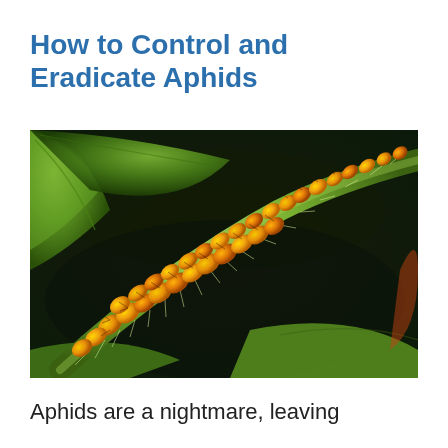How to Control and Eradicate Aphids
[Figure (photo): Close-up macro photograph of numerous orange/yellow aphids clustered densely on a green plant stem with fine hairs, against a dark background with green leaves visible.]
Aphids are a nightmare, leaving